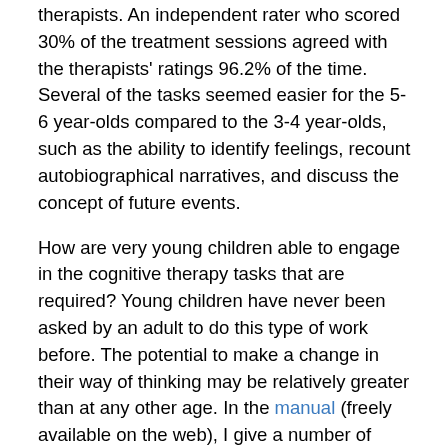treatment sessions agreed with the therapists' ratings 96.2% of the time. Several of the tasks seemed easier for the 5-6 year-olds compared to the 3-4 year-olds, such as the ability to identify feelings, recount autobiographical narratives, and discuss the concept of future events.
How are very young children able to engage in the cognitive therapy tasks that are required? Young children have never been asked by an adult to do this type of work before. The potential to make a change in their way of thinking may be relatively greater than at any other age. In the manual (freely available on the web), I give a number of directions:
In session 1, children's symptoms are given a name and put in a story form, which involves the cognitive tasks of self-reflection, autobiographical recall, and